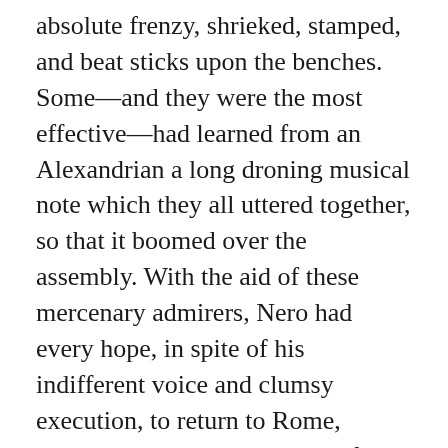absolute frenzy, shrieked, stamped, and beat sticks upon the benches. Some—and they were the most effective—had learned from an Alexandrian a long droning musical note which they all uttered together, so that it boomed over the assembly. With the aid of these mercenary admirers, Nero had every hope, in spite of his indifferent voice and clumsy execution, to return to Rome, bearing with him the chaplets for song offered for free competition by the Greek cities. As his great gilded galley with two tiers of oars passed down the Mediterranean, the Emperor sat in his cabin all day, his teacher by his side, rehearsing from morning to night those compositions which he had selected, whilst every few hours a Nubian slave massaged the Imperial throat with oil and balsam, that it might be ready for the contests which lay before it in